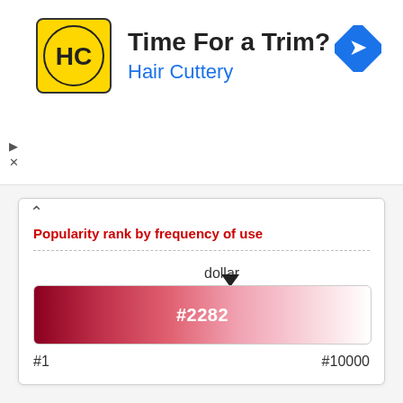[Figure (infographic): Hair Cuttery advertisement banner with yellow logo showing HC initials, text 'Time For a Trim?' and 'Hair Cuttery' in blue, navigation diamond icon on right, play and close controls on left]
Popularity rank by frequency of use
[Figure (infographic): Popularity rank slider showing a gradient bar from dark red (#8B0020) on left to white on right, with a triangle marker pointing to position #2282, label 'dollar' above marker, range labels #1 on left and #10000 on right]